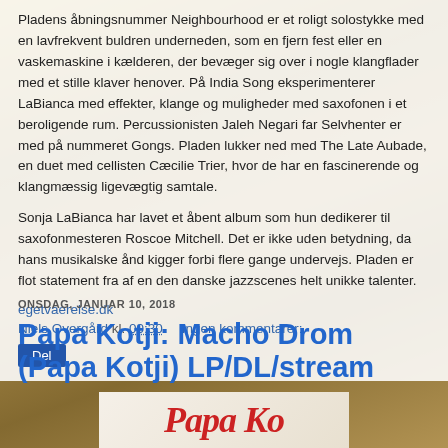Pladens åbningsnummer Neighbourhood er et roligt solostykke med en lavfrekvent buldren underneden, som en fjern fest eller en vaskemaskine i kælderen, der bevæger sig over i nogle klangflader med et stille klaver henover. På India Song eksperimenterer LaBianca med effekter, klange og muligheder med saxofonen i et beroligende rum. Percussionisten Jaleh Negari far Selvhenter er med på nummeret Gongs. Pladen lukker ned med The Late Aubade, en duet med cellisten Cæcilie Trier, hvor de har en fascinerende og klangmæssig ligevægtig samtale.
Sonja LaBianca har lavet et åbent album som hun dedikerer til saxofonmesteren Roscoe Mitchell. Det er ikke uden betydning, da hans musikalske ånd kigger forbi flere gange undervejs. Pladen er flot statement fra af en den danske jazzscenes helt unikke talenter.
egetvaerelse.dk
Niels Overgård kl. 00:30     Ingen kommentarer:
Del
ONSDAG, JANUAR 10, 2018
Papa Kotji: Macho Drom (Papa Kotji) LP/DL/stream
[Figure (photo): Bottom portion of a logo or album artwork with stylized red text on a light background]